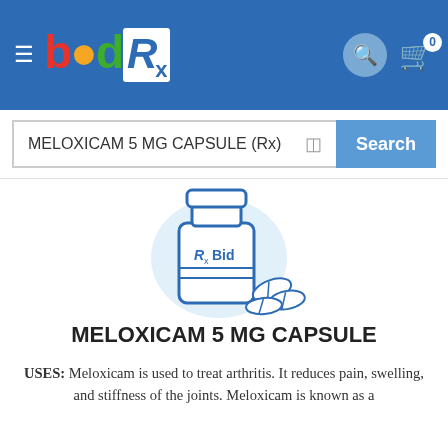bidRx header with logo and navigation icons
MELOXICAM 5 MG CAPSULE (Rx) Search
[Figure (illustration): Illustration of a prescription medicine bottle labeled RxBid with capsules beside it, on a light blue circular background]
MELOXICAM 5 MG CAPSULE
USES: Meloxicam is used to treat arthritis. It reduces pain, swelling, and stiffness of the joints. Meloxicam is known as a